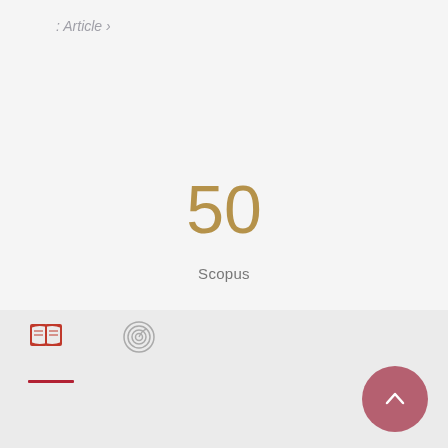: Article ›
50
Scopus
[Figure (other): Open book icon (red/dark red) and fingerprint/spiral icon (grey) in a bottom navigation bar, with a red underline beneath the book icon and a pink/mauve circular scroll-to-top button with upward chevron arrow in the bottom right.]